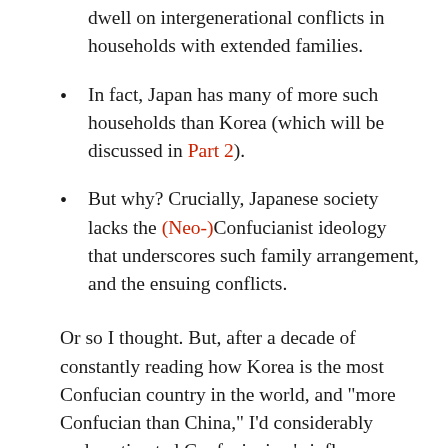dwell on intergenerational conflicts in households with extended families.
In fact, Japan has many of more such households than Korea (which will be discussed in Part 2).
But why? Crucially, Japanese society lacks the (Neo-)Confucianist ideology that underscores such family arrangement, and the ensuing conflicts.
Or so I thought. But, after a decade of constantly reading how Korea is the most Confucian country in the world, and “more Confucian than China,” I’d considerably underestimated Confucianism’s influence